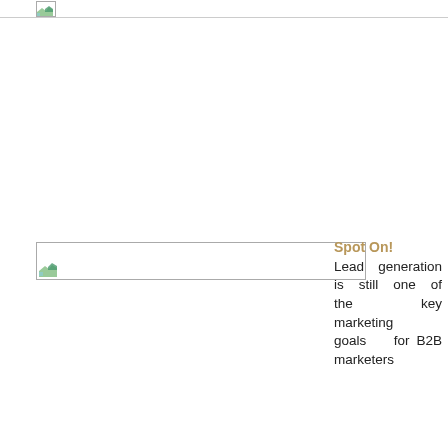[Figure (illustration): Small image placeholder icon in the page header area]
[Figure (illustration): Wide image placeholder banner in the middle of the page]
Spot On! Lead generation is still one of the key marketing goals for B2B marketers